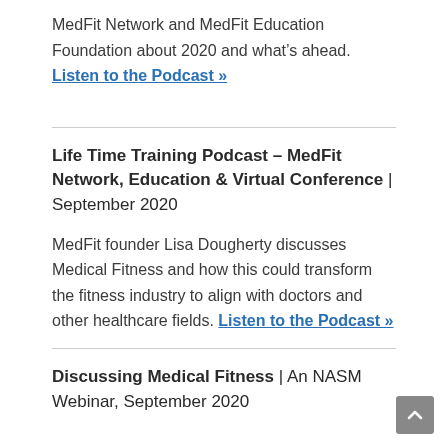MedFit Network and MedFit Education Foundation about 2020 and what's ahead. Listen to the Podcast »
Life Time Training Podcast – MedFit Network, Education & Virtual Conference | September 2020
MedFit founder Lisa Dougherty discusses Medical Fitness and how this could transform the fitness industry to align with doctors and other healthcare fields. Listen to the Podcast »
Discussing Medical Fitness | An NASM Webinar, September 2020